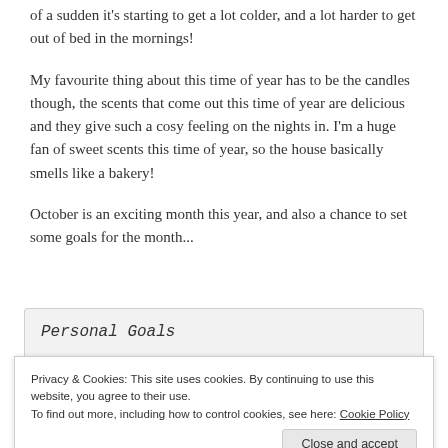of a sudden it's starting to get a lot colder, and a lot harder to get out of bed in the mornings!
My favourite thing about this time of year has to be the candles though, the scents that come out this time of year are delicious and they give such a cosy feeling on the nights in. I'm a huge fan of sweet scents this time of year, so the house basically smells like a bakery!
October is an exciting month this year, and also a chance to set some goals for the month...
Personal Goals
Privacy & Cookies: This site uses cookies. By continuing to use this website, you agree to their use.
To find out more, including how to control cookies, see here: Cookie Policy